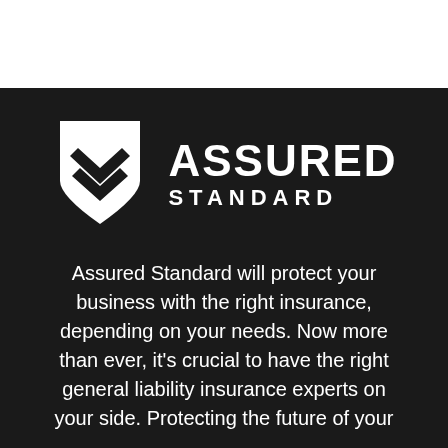[Figure (logo): Assured Standard logo: white shield with double chevron/checkmark icon on left, company name ASSURED STANDARD in white bold uppercase text on right]
Assured Standard will protect your business with the right insurance, depending on your needs. Now more than ever, it's crucial to have the right general liability insurance experts on your side. Protecting the future of your